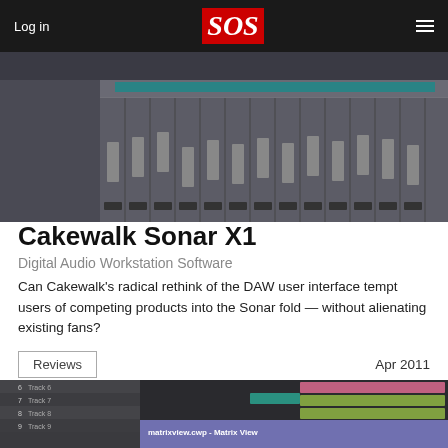Log in  SOS  [menu]
[Figure (screenshot): Screenshot of Cakewalk Sonar X1 DAW interface showing track view with mixer and channel faders]
Cakewalk Sonar X1
Digital Audio Workstation Software
Can Cakewalk's radical rethink of the DAW user interface tempt users of competing products into the Sonar fold — without alienating existing fans?
Reviews   Apr 2011
[Figure (screenshot): Screenshot of Cakewalk Sonar X1 Matrix View showing track list with tracks 6-9 and the Matrix View panel]